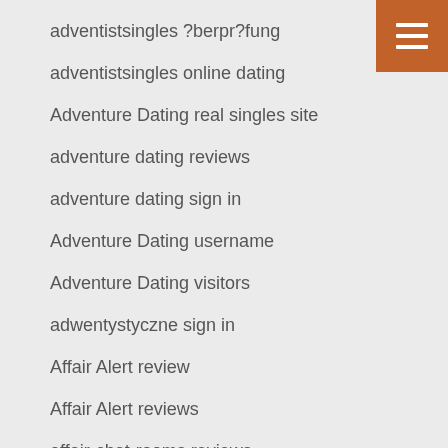adventistsingles ?berpr?fung
adventistsingles online dating
Adventure Dating real singles site
adventure dating reviews
adventure dating sign in
Adventure Dating username
Adventure Dating visitors
adwentystyczne sign in
Affair Alert review
Affair Alert reviews
affair-chat-rooms reviews
Affairdating.com reviews
affairs dating reviews